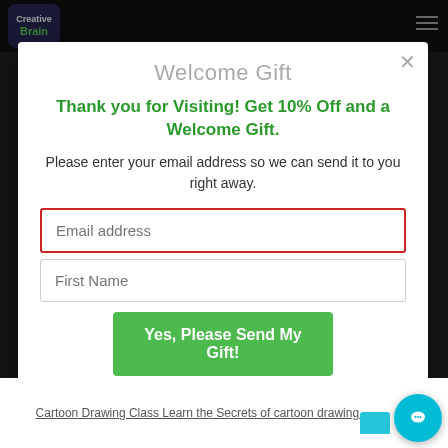[Figure (logo): Creative Brain logo — dark blue rounded square with 'Creative' in white and 'Brain' in green text]
Welcome Gift
Thank you for Visiting! Get 10% Off and a Welcome Gift.
Please enter your email address so we can send it to you right away.
Email address
First Name
Yes, Please Send My Gift!
Cartoon Drawing Class Learn the Secrets of cartoon drawing ...